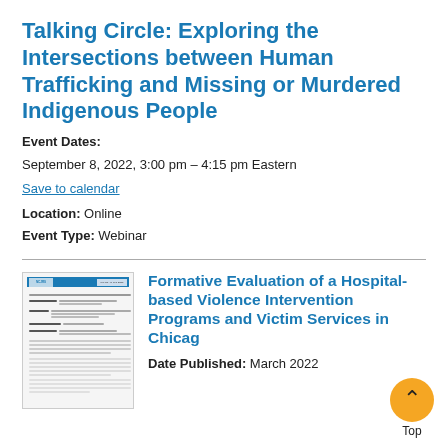Talking Circle: Exploring the Intersections between Human Trafficking and Missing or Murdered Indigenous People
Event Dates:
September 8, 2022, 3:00 pm – 4:15 pm Eastern
Save to calendar
Location: Online
Event Type: Webinar
[Figure (screenshot): Thumbnail image of a document report]
Formative Evaluation of a Hospital-based Violence Intervention Programs and Victim Services in Chicago
Date Published: March 2022